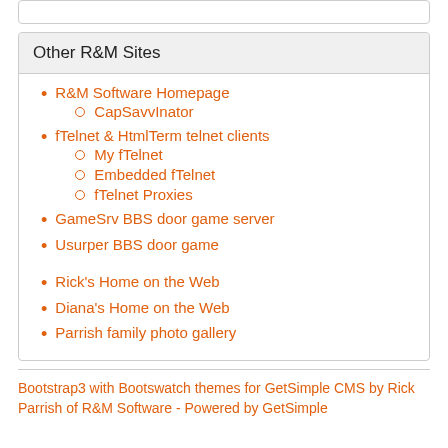Other R&M Sites
R&M Software Homepage
CapSavvInator
fTelnet & HtmlTerm telnet clients
My fTelnet
Embedded fTelnet
fTelnet Proxies
GameSrv BBS door game server
Usurper BBS door game
Rick's Home on the Web
Diana's Home on the Web
Parrish family photo gallery
Bootstrap3 with Bootswatch themes for GetSimple CMS by Rick Parrish of R&M Software - Powered by GetSimple